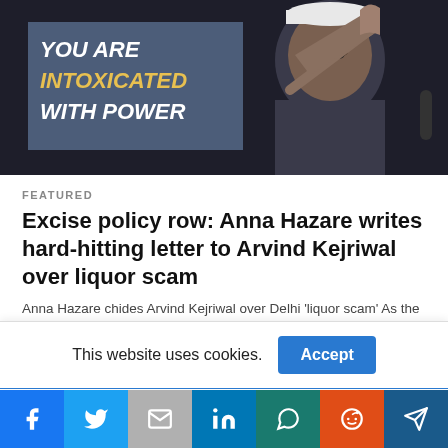[Figure (photo): News article hero image showing a man wearing a white cap pointing a finger, with blue overlay box reading 'YOU ARE INTOXICATED WITH POWER' in bold italic text]
FEATURED
Excise policy row: Anna Hazare writes hard-hitting letter to Arvind Kejriwal over liquor scam
Anna Hazare chides Arvind Kejriwal over Delhi 'liquor scam' As the Centre and Aam Aadmi...
This website uses cookies.
Facebook | Twitter | Gmail | LinkedIn | WhatsApp | Reddit | Telegram